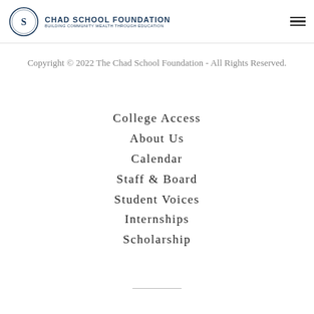[Figure (logo): Chad School Foundation logo with circular seal and text 'CHAD SCHOOL FOUNDATION - BUILDING COMMUNITY WEALTH THROUGH EDUCATION']
Copyright © 2022 The Chad School Foundation - All Rights Reserved.
College Access
About Us
Calendar
Staff & Board
Student Voices
Internships
Scholarship